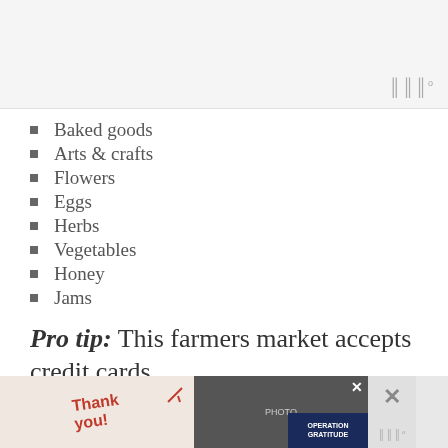[Figure (photo): Top image area, partially shown, light gray background with watermark-style icon in bottom right corner]
Baked goods
Arts & crafts
Flowers
Eggs
Herbs
Vegetables
Honey
Jams
Pro tip: This farmers market accepts credit cards
[Figure (photo): Advertisement banner for Operation Gratitude showing firefighters with a Thank You message, with close button]